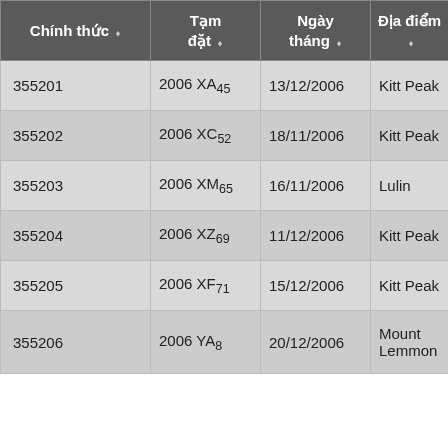| Chính thức | Tạm đặt | Ngày tháng | Địa điểm |
| --- | --- | --- | --- |
| 355201 | 2006 XA45 | 13/12/2006 | Kitt Peak |
| 355202 | 2006 XC52 | 18/11/2006 | Kitt Peak |
| 355203 | 2006 XM65 | 16/11/2006 | Lulin |
| 355204 | 2006 XZ69 | 11/12/2006 | Kitt Peak |
| 355205 | 2006 XF71 | 15/12/2006 | Kitt Peak |
| 355206 | 2006 YA8 | 20/12/2006 | Mount Lemmon |